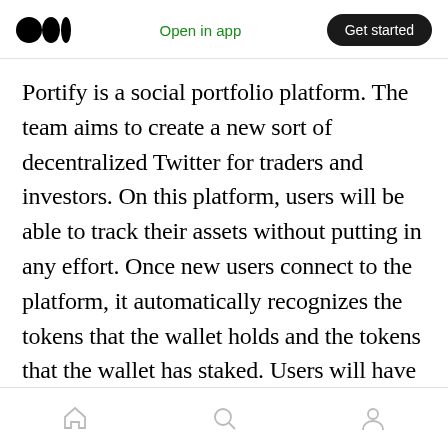Medium logo | Open in app | Get started
Portify is a social portfolio platform. The team aims to create a new sort of decentralized Twitter for traders and investors. On this platform, users will be able to track their assets without putting in any effort. Once new users connect to the platform, it automatically recognizes the tokens that the wallet holds and the tokens that the wallet has staked. Users will have the possibility to set their portfolio public and with setting their portfolio public, the social aspect of the platform is activated. Portify will be like the new Decentralized Twitter.
Home | Search | Profile